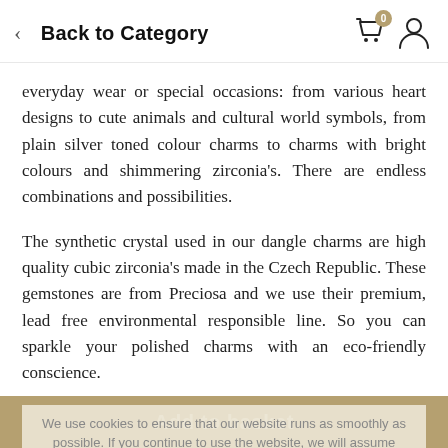< Back to Category
everyday wear or special occasions: from various heart designs to cute animals and cultural world symbols, from plain silver toned colour charms to charms with bright colours and shimmering zirconia's. There are endless combinations and possibilities.
The synthetic crystal used in our dangle charms are high quality cubic zirconia's made in the Czech Republic. These gemstones are from Preciosa and we use their premium, lead free environmental responsible line. So you can sparkle your polished charms with an eco-friendly conscience.
We use cookies to ensure that our website runs as smoothly as possible. If you continue to use the website, we will assume that you agree to it.
If you spot any vibrant colours in your charm then you are seeing a coloured enamel coating. For your information enamels are fine particles of glass applied to metal to add
Add to basket